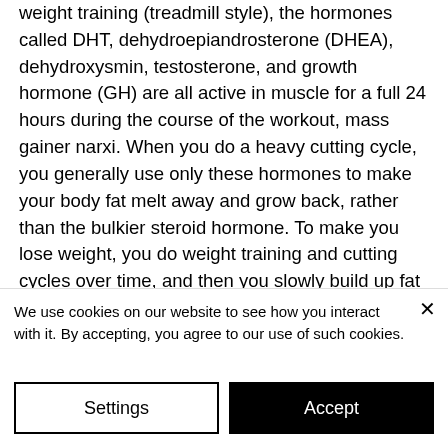weight training (treadmill style), the hormones called DHT, dehydroepiandrosterone (DHEA), dehydroxysmin, testosterone, and growth hormone (GH) are all active in muscle for a full 24 hours during the course of the workout, mass gainer narxi. When you do a heavy cutting cycle, you generally use only these hormones to make your body fat melt away and grow back, rather than the bulkier steroid hormone. To make you lose weight, you do weight training and cutting cycles over time, and then you slowly build up fat mass, and only use muscle growth aids, like creatine or HGH, to help you to get to and
We use cookies on our website to see how you interact with it. By accepting, you agree to our use of such cookies.